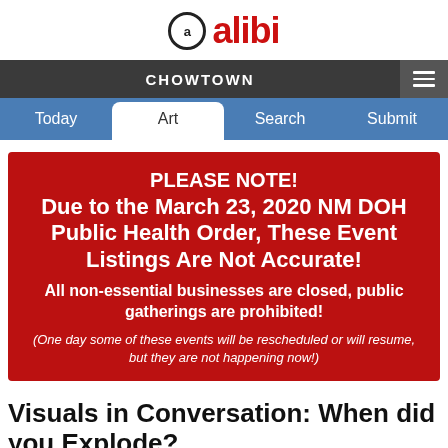alibi
CHOWTOWN
Today  Art  Search  Submit
PLEASE NOTE! Due to the March 23, 2020 NM DOH Public Health Order, These Event Listings Are Not Accurate! All non-essential businesses are closed, public gatherings are prohibited! (One day some of these events will be rescheduled or will resume, but they are not happening now!)
Visuals in Conversation: When did you Explode?
Wednesday, Dec 11, 2019